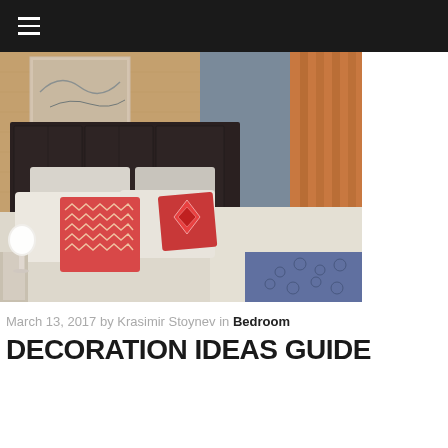≡
[Figure (photo): A bedroom interior with a dark upholstered headboard, white and pink patterned pillows, white bedding, a white lamp on a side table, tan/brown textured wallpaper, and orange curtains in the background.]
March 13, 2017 by Krasimir Stoynev in Bedroom
DECORATION IDEAS GUIDE